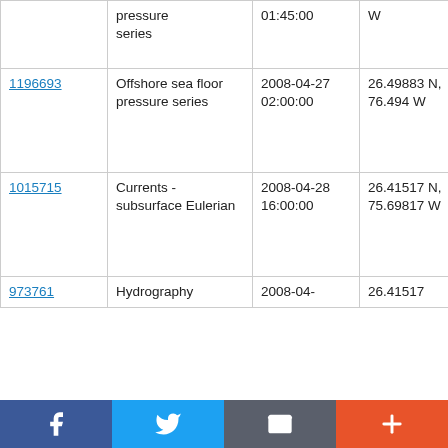|  | pressure series | 01:45:00 | W | Johnson
SJ-08-03
Leg 1 |
| 1196693 | Offshore sea floor pressure series | 2008-04-27 02:00:00 | 26.49883 N, 76.494 W | RV Seward Johnson SJ-08-03 Leg 1 |
| 1015715 | Currents - subsurface Eulerian | 2008-04-28 16:00:00 | 26.41517 N, 75.69817 W | RV Seward Johnson SJ-08-03 Leg 2 |
| 973761 | Hydrography | 2008-04- | 26.41517 | RV |